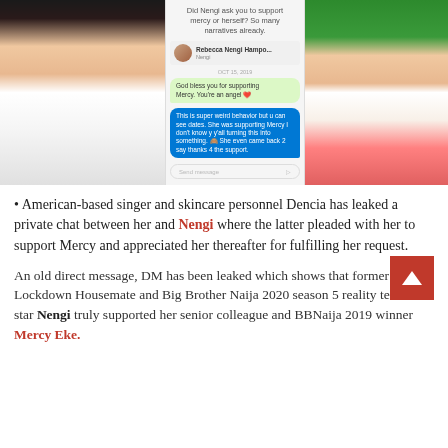[Figure (photo): Three-panel image: left panel shows a woman in white spaghetti-strap top with dark hair and dramatic makeup; center panel shows a smartphone screenshot of a direct message conversation with Rebecca Nengi Hampo, including chat bubbles about supporting Mercy; right panel shows a woman in white oversized shirt with pink bag.]
• American-based singer and skincare personnel Dencia has leaked a private chat between her and Nengi where the latter pleaded with her to support Mercy and appreciated her thereafter for fulfilling her request.
An old direct message, DM has been leaked which shows that former Lockdown Housemate and Big Brother Naija 2020 season 5 reality television star Nengi truly supported her senior colleague and BBNaija 2019 winner Mercy Eke.